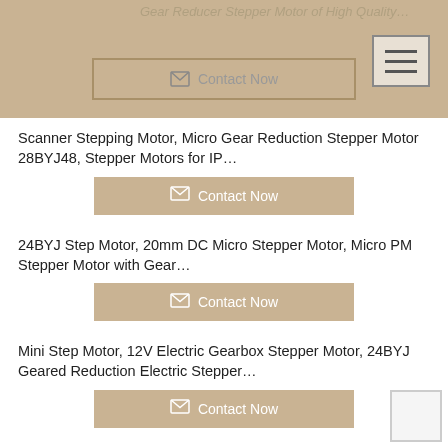Gear Reducer Stepper Motor of High Quality…
Scanner Stepping Motor, Micro Gear Reduction Stepper Motor 28BYJ48, Stepper Motors for IP…
24BYJ Step Motor, 20mm DC Micro Stepper Motor, Micro PM Stepper Motor with Gear…
Mini Step Motor, 12V Electric Gearbox Stepper Motor, 24BYJ Geared Reduction Electric Stepper…
Gear Step Motor, PM Geared Stepper Motor for Robot, 5V 15mm Stepper Motor Customizable
Micro Step Motor, 5V 12V Micro Stepper Motor,